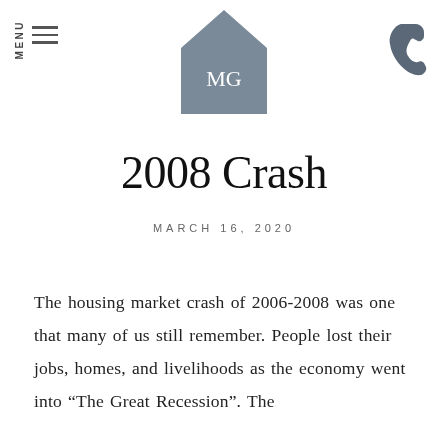[Figure (logo): MG logo: a house shape in slate grey with the letters M and G in white serif font inside]
[Figure (illustration): Hamburger menu icon with MENU text rotated vertically]
[Figure (illustration): Phone icon in dark slate grey]
2008 Crash
MARCH 16, 2020
The housing market crash of 2006-2008 was one that many of us still remember. People lost their jobs, homes, and livelihoods as the economy went into “The Great Recession”. The